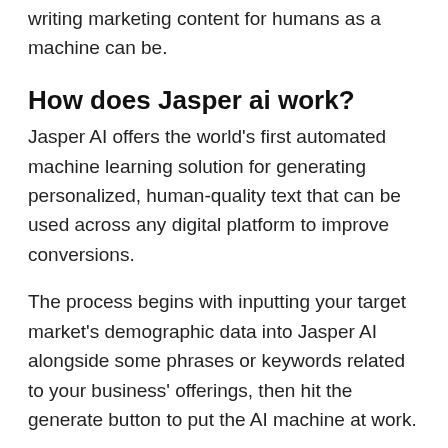writing marketing content for humans as a machine can be.
How does Jasper ai work?
Jasper AI offers the world's first automated machine learning solution for generating personalized, human-quality text that can be used across any digital platform to improve conversions.
The process begins with inputting your target market's demographic data into Jasper AI alongside some phrases or keywords related to your business' offerings, then hit the generate button to put the AI machine at work.
Final Thoughts on Jasper ai blog